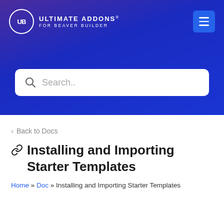[Figure (logo): Ultimate Addons for Beaver Builder logo with UB circle and text, plus hamburger menu button, on blue/purple gradient header]
Search..
< Back to Docs
Installing and Importing Starter Templates
Home » Doc » Installing and Importing Starter Templates